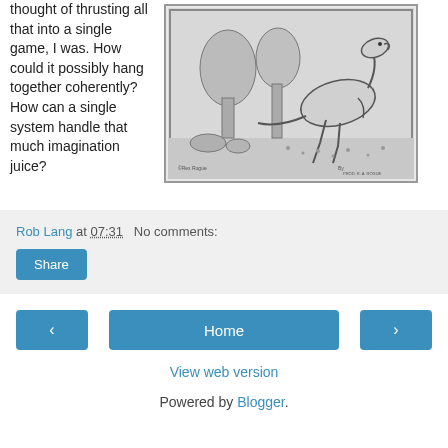thought of thrusting all that into a single game, I was. How could it possibly hang together coherently? How can a single system handle that much imagination juice?
[Figure (illustration): Black and white line drawing of a dinosaur (raptor) in a prehistoric scene with trees and rocks.]
Rob Lang at 07:31   No comments:
Share
Home
View web version
Powered by Blogger.